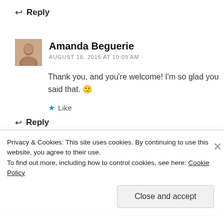↩ Reply
Amanda Beguerie
AUGUST 18, 2015 AT 10:09 AM
Thank you, and you're welcome! I'm so glad you said that. 🙂
★ Like
↩ Reply
Privacy & Cookies: This site uses cookies. By continuing to use this website, you agree to their use.
To find out more, including how to control cookies, see here: Cookie Policy
Close and accept